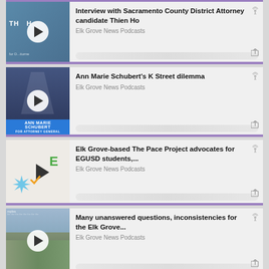[Figure (screenshot): Podcast listing card 1: Interview with Sacramento County District Attorney candidate Thien Ho, thumbnail with blue background, play button overlay]
Interview with Sacramento County District Attorney candidate Thien Ho
Elk Grove News Podcasts
[Figure (screenshot): Podcast listing card 2: Ann Marie Schubert's K Street dilemma, thumbnail with Ann Marie Schubert at podium with US flag]
Ann Marie Schubert's K Street dilemma
Elk Grove News Podcasts
[Figure (screenshot): Podcast listing card 3: Elk Grove-based The Pace Project advocates for EGUSD students, employees... thumbnail with colorful icons]
Elk Grove-based The Pace Project advocates for EGUSD students,... employees...
Elk Grove News Podcasts
[Figure (screenshot): Podcast listing card 4: Many unanswered questions, inconsistencies for the Elk Grove... thumbnail with building/complex photo]
Many unanswered questions, inconsistencies for the Elk Grove...
Elk Grove News Podcasts